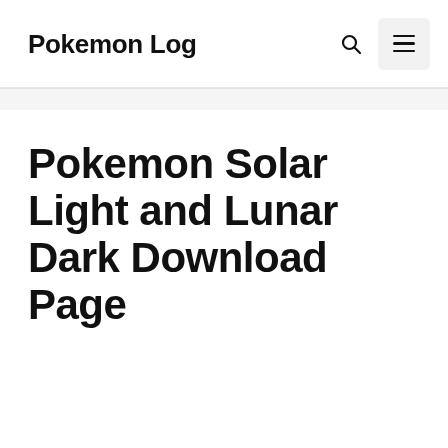Pokemon Log
Pokemon Solar Light and Lunar Dark Download Page